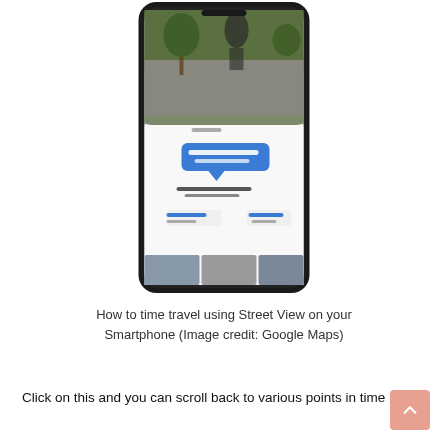[Figure (screenshot): A smartphone displaying Google Maps Street View with a location pin and blue speech bubble showing a place name, with a street scene photo at the top and location details below]
How to time travel using Street View on your Smartphone (Image credit: Google Maps)
Click on this and you can scroll back to various points in time